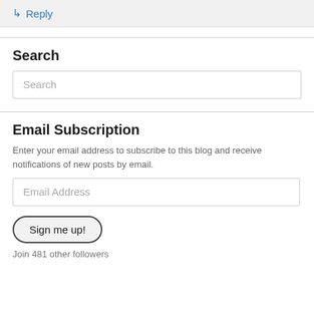↳ Reply
Search
Search
Email Subscription
Enter your email address to subscribe to this blog and receive notifications of new posts by email.
Email Address
Sign me up!
Join 481 other followers